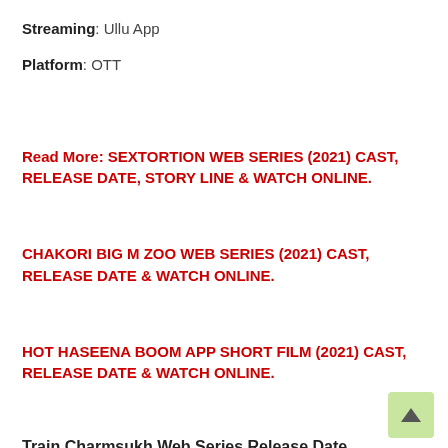Streaming: Ullu App
Platform: OTT
Read More: SEXTORTION WEB SERIES (2021) CAST, RELEASE DATE, STORY LINE & WATCH ONLINE.
CHAKORI BIG M ZOO WEB SERIES (2021) CAST, RELEASE DATE & WATCH ONLINE.
HOT HASEENA BOOM APP SHORT FILM (2021) CAST, RELEASE DATE & WATCH ONLINE.
Train Charmsukh Web Series Release Date
Train Charmsukh Upcoming Indian Hindi Language Ullu Web Series. Train Charmsukh Web Series Official Release Date 17th